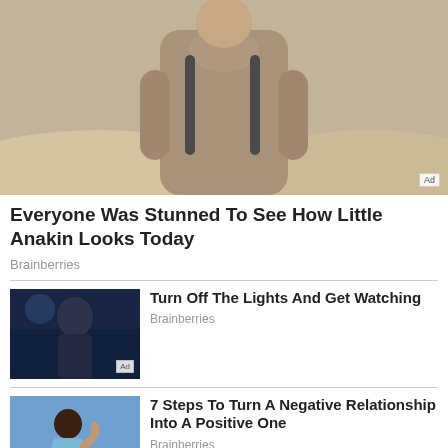[Figure (photo): Person wearing a tan/brown fuzzy coat with backpack straps, outdoors in a sandy/desert environment]
Everyone Was Stunned To See How Little Anakin Looks Today
Brainberries
[Figure (photo): Person in a dark scene, appears to be a movie or show still, with Ad badge]
Turn Off The Lights And Get Watching
Brainberries
[Figure (photo): Woman from behind touching her neck/shoulder, blue sky background, with Ad badge]
7 Steps To Turn A Negative Relationship Into A Positive One
Brainberries
[Figure (photo): Robot humanoid face with blue tones, with Ad badge]
Most Amazing Advanced Robots That Will Change Our World
Brainberries